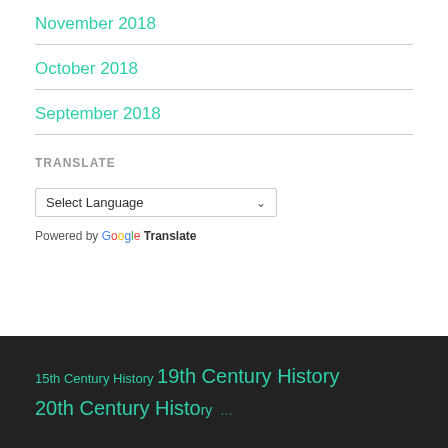November 2018
October 2018
September 2018
TRANSLATE
[Figure (screenshot): Google Translate widget with 'Select Language' dropdown and 'Powered by Google Translate' text]
15th Century History  19th Century History  20th Century History ...